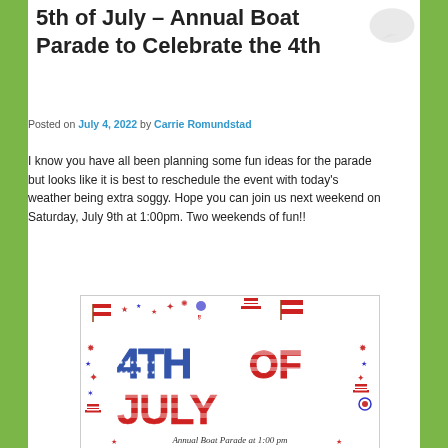5th of July – Annual Boat Parade to Celebrate the 4th
Posted on July 4, 2022 by Carrie Romundstad
I know you have all been planning some fun ideas for the parade but looks like it is best to reschedule the event with today's weather being extra soggy. Hope you can join us next weekend on Saturday, July 9th at 1:00pm. Two weekends of fun!!
[Figure (illustration): 4th of July Annual Boat Parade decorative image with red, white and blue stars-and-stripes lettering reading '4TH OF JULY', surrounded by American flags, fireworks, Uncle Sam hats, ribbons, and patriotic decorations. Text at bottom reads 'Annual Boat Parade at 1:00 pm']